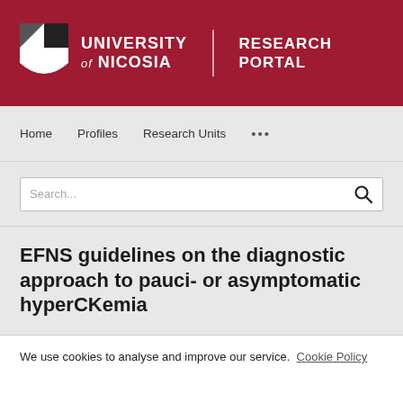[Figure (logo): University of Nicosia Research Portal logo with shield icon, university name and research portal text on dark red background]
Home  Profiles  Research Units  ...
Search...
EFNS guidelines on the diagnostic approach to pauci- or asymptomatic hyperCKemia
We use cookies to analyse and improve our service. Cookie Policy